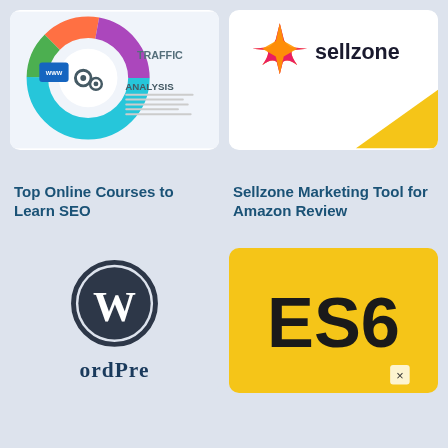[Figure (infographic): SEO infographic with circular diagram showing TRAFFIC and ANALYSIS labels, gear icons, WWW laptop, colorful donut chart]
[Figure (logo): Sellzone Marketing Tool logo with colorful 4-pointed star and yellow triangle corner on white background]
Top Online Courses to Learn SEO
Sellzone Marketing Tool for Amazon Review
[Figure (logo): WordPress logo - dark circle with W letter and ORdPrE text below on light background]
[Figure (logo): ES6 text on yellow rounded square background]